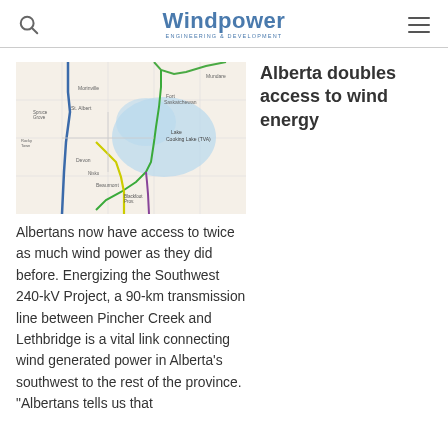Windpower Engineering & Development
[Figure (map): Map showing the Southwest 240-kV transmission line route between Pincher Creek and Lethbridge in Alberta, with blue and green route lines overlaid on a regional map]
Alberta doubles access to wind energy
Albertans now have access to twice as much wind power as they did before. Energizing the Southwest 240-kV Project, a 90-km transmission line between Pincher Creek and Lethbridge is a vital link connecting wind generated power in Alberta's southwest to the rest of the province. "Albertans tells us that